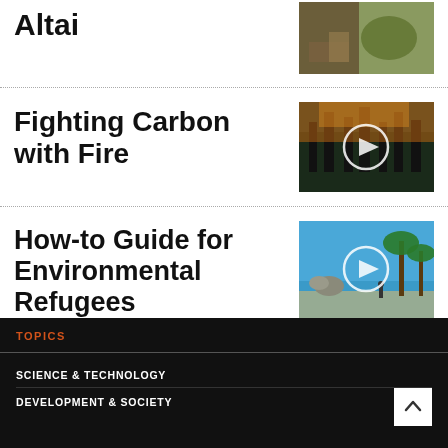Altai
[Figure (photo): Thumbnail image with earthy tones showing outdoor landscape (Altai region)]
Fighting Carbon with Fire
[Figure (photo): Video thumbnail showing forest fire scene with play button overlay]
How-to Guide for Environmental Refugees
[Figure (photo): Video thumbnail showing tropical beach scene with palm trees and play button overlay]
TOPICS
SCIENCE & TECHNOLOGY
DEVELOPMENT & SOCIETY